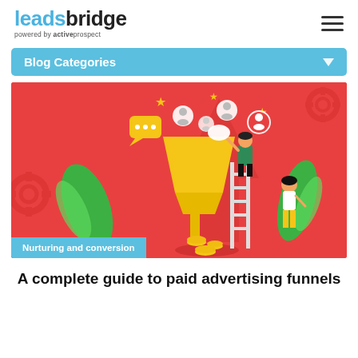leadsbridge powered by activeprospect
Blog Categories
[Figure (illustration): Marketing funnel illustration on red background showing a person on a ladder putting items into a large golden funnel, coins coming out the bottom, social media icons floating above, and a woman standing beside with yellow pants. Green leaves and gear icons decorate the background.]
Nurturing and conversion
A complete guide to paid advertising funnels